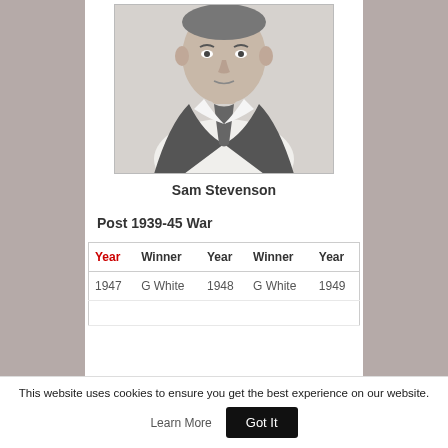[Figure (photo): Black and white portrait photo of a man in a suit and tie, showing chest and face area.]
Sam Stevenson
Post 1939-45 War
| Year | Winner | Year | Winner | Year |
| --- | --- | --- | --- | --- |
| 1947 | G White | 1948 | G White | 1949 |
This website uses cookies to ensure you get the best experience on our website.